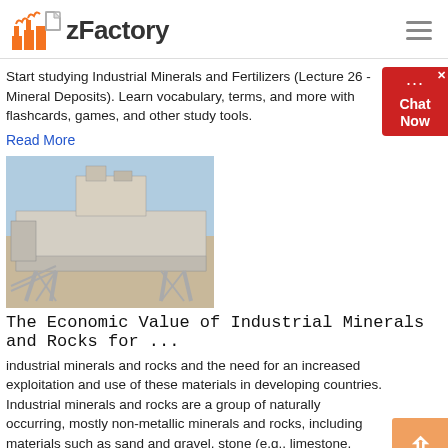zFactory
Start studying Industrial Minerals and Fertilizers (Lecture 26 - Mineral Deposits). Learn vocabulary, terms, and more with flashcards, games, and other study tools.
Read More
[Figure (photo): Industrial mining or processing machinery on elevated platform structure]
The Economic Value of Industrial Minerals and Rocks for ...
industrial minerals and rocks and the need for an increased exploitation and use of these materials in developing countries. Industrial minerals and rocks are a group of naturally occurring, mostly non-metallic minerals and rocks, including materials such as sand and gravel, stone (e.g., limestone,
Read More